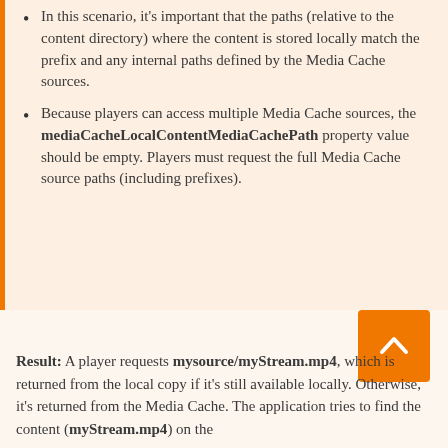In this scenario, it's important that the paths (relative to the content directory) where the content is stored locally match the prefix and any internal paths defined by the Media Cache sources.
Because players can access multiple Media Cache sources, the mediaCacheLocalContentMediaCachePath property value should be empty. Players must request the full Media Cache source paths (including prefixes).
[Figure (other): Orange back-to-top button with upward chevron arrow]
Result: A player requests mysource/myStream.mp4, which is returned from the local copy if it's still available locally. Otherwise, it's returned from the Media Cache. The application tries to find the content (myStream.mp4) on the